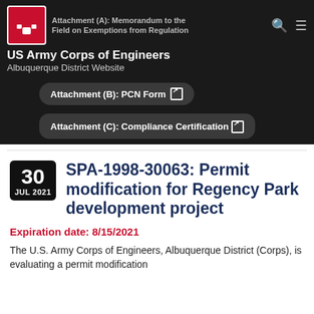US Army Corps of Engineers Albuquerque District Website
Attachment (A): Memorandum to the Field on Exemptions from Regulation
Attachment (B): PCN Form
Attachment (C): Compliance Certification
SPA-1998-30063: Permit modification for Regency Park development project
Expiration date: 8/15/2021
The U.S. Army Corps of Engineers, Albuquerque District (Corps), is evaluating a permit modification